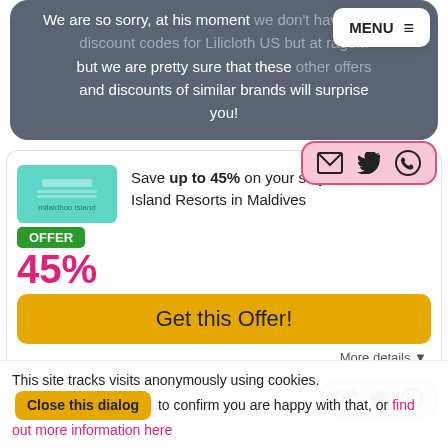We are so sorry, at his moment we don't have offers or discount codes for Lilicloth US but at rage!!! but we are pretty sure that these other offers and discounts of similar brands will surprise you!
[Figure (screenshot): Menu overlay button with hamburger icon in white rounded box]
[Figure (screenshot): Offer card for Milaidhoo Island Resorts in Maldives showing 45% off with share icons, brand logo, Get this Offer button, and More details link]
This site tracks visits anonymously using cookies. Close this dialog to confirm you are happy with that, or find out more information here